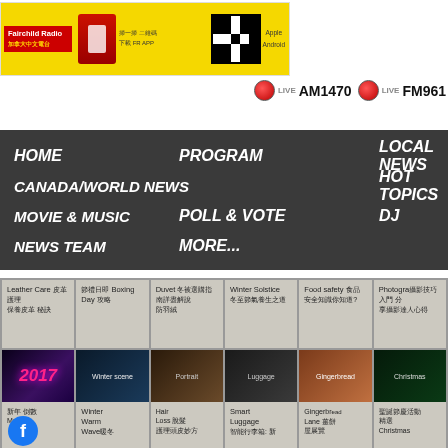[Figure (screenshot): Fairchild Radio banner advertisement with logo, microphone image, Chinese text, QR code, and App store links for Apple and Android]
LIVE AM1470   LIVE FM961
HOME
PROGRAM
LOCAL NEWS
CANADA/WORLD NEWS
HOT TOPICS
MOVIE & MUSIC
POLL & VOTE
DJ
NEWS TEAM
MORE...
[Figure (screenshot): Content card grid row 1: Leather Care article, Boxing Day article, Duvet article, Winter Solstice article, Food safety article, Photography article - all with Chinese text]
[Figure (screenshot): Content card grid row 2 with images: 2017 new year image, Winter Warm Wave image, Hair Loss article image, Smart Luggage image, Gingerbread Lane image, Christmas article image]